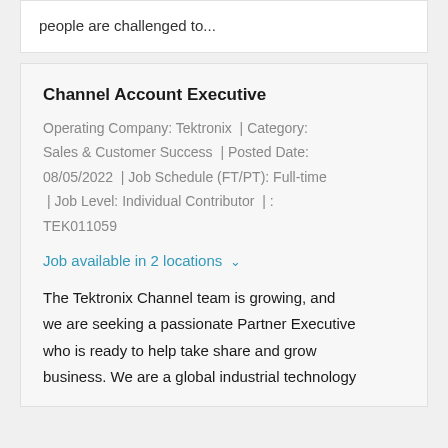people are challenged to...
Channel Account Executive
Operating Company: Tektronix  | Category: Sales & Customer Success  | Posted Date: 08/05/2022  | Job Schedule (FT/PT): Full-time  | Job Level: Individual Contributor  | : TEK011059
Job available in 2 locations ∨
The Tektronix Channel team is growing, and we are seeking a passionate Partner Executive who is ready to help take share and grow business. We are a global industrial technology